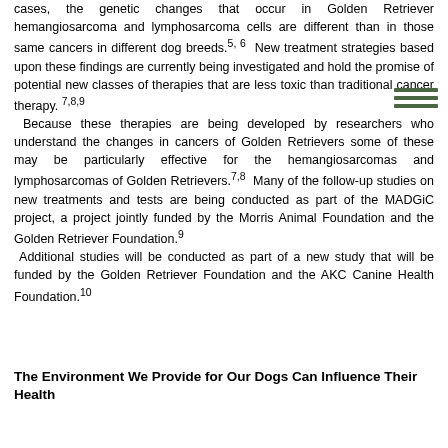cases, the genetic changes that occur in Golden Retriever hemangiosarcoma and lymphosarcoma cells are different than in those same cancers in different dog breeds.5, 6  New treatment strategies based upon these findings are currently being investigated and hold the promise of potential new classes of therapies that are less toxic than traditional cancer therapy. 7,8,9  Because these therapies are being developed by researchers who understand the changes in cancers of Golden Retrievers some of these may be particularly effective for the hemangiosarcomas and lymphosarcomas of Golden Retrievers.7,8  Many of the follow-up studies on new treatments and tests are being conducted as part of the MADGiC project, a project jointly funded by the Morris Animal Foundation and the Golden Retriever Foundation.9  Additional studies will be conducted as part of a new study that will be funded by the Golden Retriever Foundation and the AKC Canine Health Foundation.10
The Environment We Provide for Our Dogs Can Influence Their Health